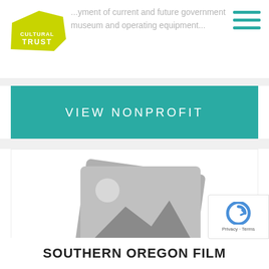...yment of current and future government museum and operating equipment...
VIEW NONPROFIT
[Figure (illustration): Placeholder image icon showing stacked photo cards with mountain/landscape silhouette and sun, rendered in gray]
SOUTHERN OREGON FILM